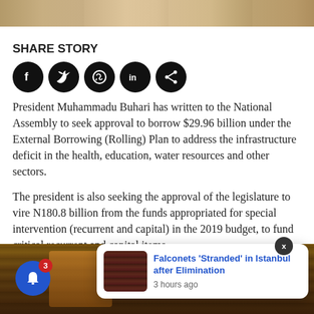[Figure (photo): Top portion of an image showing people in light-colored clothing, partially cropped]
SHARE STORY
[Figure (infographic): Social sharing icons: Facebook, Twitter, WhatsApp, LinkedIn, Share — all black circular icons]
President Muhammadu Buhari has written to the National Assembly to seek approval to borrow $29.96 billion under the External Borrowing (Rolling) Plan to address the infrastructure deficit in the health, education, water resources and other sectors.
The president is also seeking the approval of the legislature to vire N180.8 billion from the funds appropriated for special intervention (recurrent and capital) in the 2019 budget, to fund critical recurrent and capital items.
[Figure (photo): Partial bottom image showing a person in traditional Nigerian attire]
[Figure (infographic): Notification popup showing 'Falconets Stranded in Istanbul after Elimination - 3 hours ago' with thumbnail image]